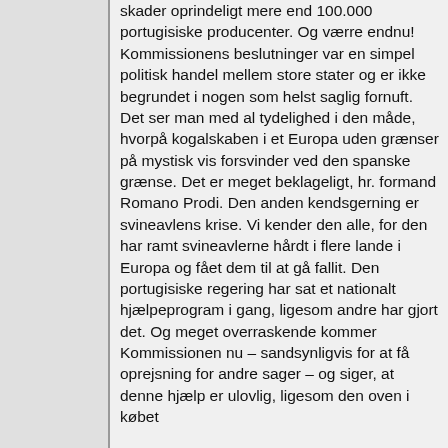skader oprindeligt mere end 100.000 portugisiske producenter. Og værre endnu! Kommissionens beslutninger var en simpel politisk handel mellem store stater og er ikke begrundet i nogen som helst saglig fornuft. Det ser man med al tydelighed i den måde, hvorpå kogalskaben i et Europa uden grænser på mystisk vis forsvinder ved den spanske grænse. Det er meget beklageligt, hr. formand Romano Prodi. Den anden kendsgerning er svineavlens krise. Vi kender den alle, for den har ramt svineavlerne hårdt i flere lande i Europa og fået dem til at gå fallit. Den portugisiske regering har sat et nationalt hjælpeprogram i gang, ligesom andre har gjort det. Og meget overraskende kommer Kommissionen nu – sandsynligvis for at få oprejsning for andre sager – og siger, at denne hjælp er ulovlig, ligesom den oven i købet